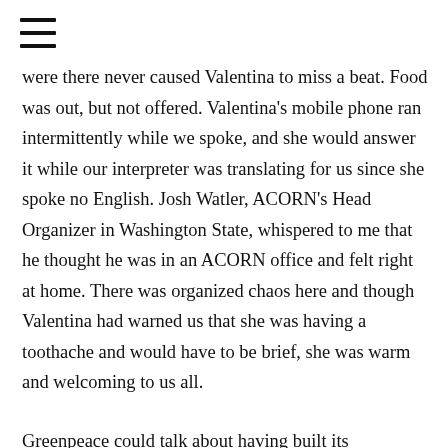≡
were there never caused Valentina to miss a beat. Food was out, but not offered. Valentina's mobile phone ran intermittently while we spoke, and she would answer it while our interpreter was translating for us since she spoke no English. Josh Watler, ACORN's Head Organizer in Washington State, whispered to me that he thought he was in an ACORN office and felt right at home. There was organized chaos here and though Valentina had warned us that she was having a toothache and would have to be brief, she was warm and welcoming to us all.
Greenpeace could talk about having built its membership at malls and street corners along with the telephone and internet and the fact that such support contributed to a quarter of their budget, while Soldiers' Mothers were hand to mouth counting their support as the one in 5000 mothers who called for help who decided to